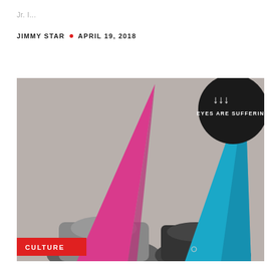Jr.  I...
JIMMY STAR • APRIL 19, 2018
[Figure (photo): Two people wearing large conical party hats — one magenta/pink and one cyan/blue — covering their faces. Black and white photo of the people, with colorful hats. In the upper right corner is a dark circular badge/logo with text 'EYES ARE SUFFERING'. A red 'CULTURE' label appears in the lower left corner of the image.]